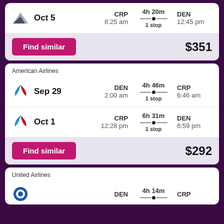Oct 5 | CRP 8:25 am | 4h 20m 1 stop | DEN 12:45 pm
Find similar $351
American Airlines
Sep 29 | DEN 2:00 am | 4h 46m 1 stop | CRP 6:46 am
Oct 1 | CRP 12:28 pm | 6h 31m 1 stop | DEN 6:59 pm
Find similar $292
United Airlines
DEN | 4h 14m | CRP